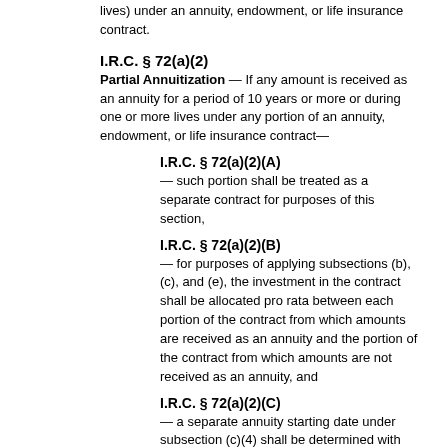lives) under an annuity, endowment, or life insurance contract.
I.R.C. § 72(a)(2)
Partial Annuitization — If any amount is received as an annuity for a period of 10 years or more or during one or more lives under any portion of an annuity, endowment, or life insurance contract—
I.R.C. § 72(a)(2)(A)
— such portion shall be treated as a separate contract for purposes of this section,
I.R.C. § 72(a)(2)(B)
— for purposes of applying subsections (b), (c), and (e), the investment in the contract shall be allocated pro rata between each portion of the contract from which amounts are received as an annuity and the portion of the contract from which amounts are not received as an annuity, and
I.R.C. § 72(a)(2)(C)
— a separate annuity starting date under subsection (c)(4) shall be determined with respect to each portion of the contract from which amounts are received as an annuity.
I.R.C. § 72(b)
Exclusion Ratio
I.R.C. § 72(b)(1)